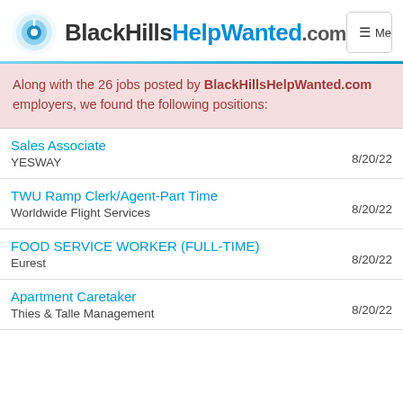BlackHillsHelpWanted.com
Along with the 26 jobs posted by BlackHillsHelpWanted.com employers, we found the following positions:
Sales Associate | YESWAY | 8/20/22
TWU Ramp Clerk/Agent-Part Time | Worldwide Flight Services | 8/20/22
FOOD SERVICE WORKER (FULL-TIME) | Eurest | 8/20/22
Apartment Caretaker | Thies & Talle Management | 8/20/22